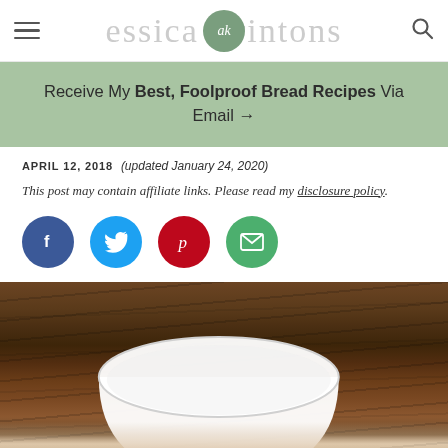Jessica Brightone's [blog nav with logo ak and search]
Receive My Best, Foolproof Bread Recipes Via Email →
APRIL 12, 2018 (updated January 24, 2020)
This post may contain affiliate links. Please read my disclosure policy.
[Figure (infographic): Row of four social sharing buttons: Facebook (dark blue circle with f), Twitter (light blue circle with bird), Pinterest (red circle with p), Email (green circle with envelope)]
[Figure (photo): Food photo showing a white bowl partially visible from above, set on a rustic dark wooden background, with bread or food items visible at the bottom]